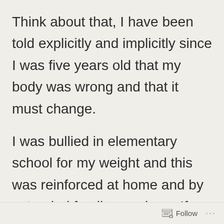Think about that, I have been told explicitly and implicitly since I was five years old that my body was wrong and that it must change.
I was bullied in elementary school for my weight and this was reinforced at home and by extended family members. If body shaming actually caused people to lose weight I would be under 100
Follow ...